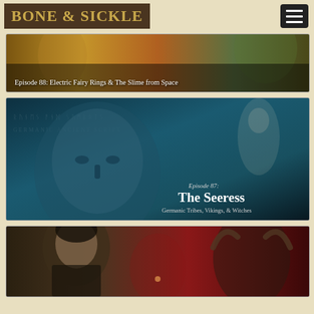[Figure (logo): Bone & Sickle logo in gold text on dark brown background]
[Figure (screenshot): Episode 88: Electric Fairy Rings & The Slime from Space — decorative mythological banner image]
[Figure (screenshot): Episode 87: The Seeress — Germanic Tribes, Vikings, & Witches — teal stone face artwork]
[Figure (screenshot): Episode 86 partial — dark portrait with red background, bottom of page]